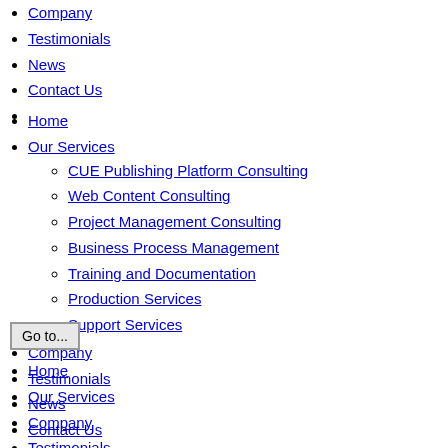Company
Testimonials
News
Contact Us
Home
Our Services
CUE Publishing Platform Consulting
Web Content Consulting
Project Management Consulting
Business Process Management
Training and Documentation
Production Services
Support Services
Company
Testimonials
News
Contact Us
Go to...
Home
Our Services
Company
Testimonials